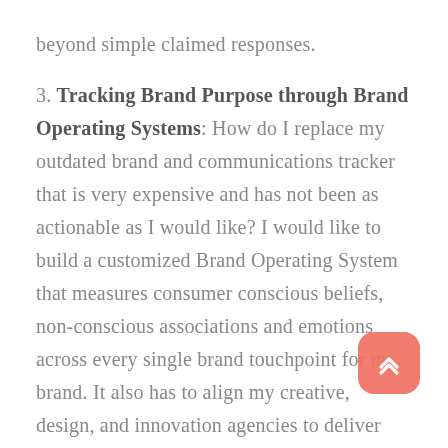beyond simple claimed responses.
3. Tracking Brand Purpose through Brand Operating Systems: How do I replace my outdated brand and communications tracker that is very expensive and has not been as actionable as I would like? I would like to build a customized Brand Operating System that measures consumer conscious beliefs, non-conscious associations and emotions across every single brand touchpoint for my brand. It also has to align my creative, design, and innovation agencies to deliver outputs that